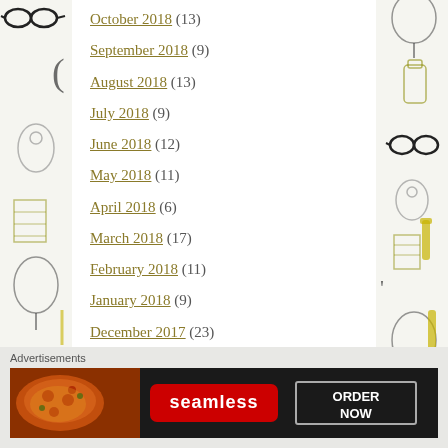October 2018 (13)
September 2018 (9)
August 2018 (13)
July 2018 (9)
June 2018 (12)
May 2018 (11)
April 2018 (6)
March 2018 (17)
February 2018 (11)
January 2018 (9)
December 2017 (23)
November 2017 (13)
October 2017 (15)
Advertisements
[Figure (other): Seamless food ordering advertisement banner with pizza image and ORDER NOW button]